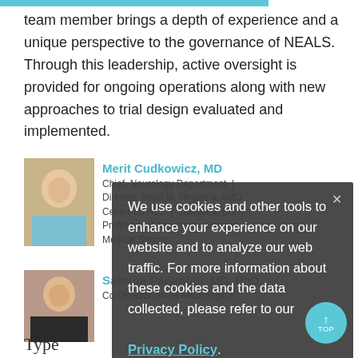team member brings a depth of experience and a unique perspective to the governance of NEALS. Through this leadership, active oversight is provided for ongoing operations along with new approaches to trial design evaluated and implemented.
[Figure (photo): Photo of Merit Cudkowicz, MD]
Merit Cudkowicz, MD
Chief, Neurology Department | Director, Sean M. Healey & AMG Center for ALS | Julieanne Dorn Professor of Neurology, Harvard Medical School
[Figure (photo): Photo of Sabrina Paganoni, MD, PhD]
Sabrina Paganoni, MD, PhD
Co-Director, MGH Neurological
We use cookies and other tools to enhance your experience on our website and to analyze our web traffic. For more information about these cookies and the data collected, please refer to our Privacy Policy.
Type